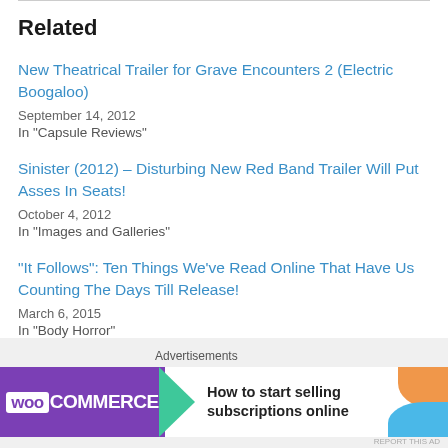Related
New Theatrical Trailer for Grave Encounters 2 (Electric Boogaloo)
September 14, 2012
In "Capsule Reviews"
Sinister (2012) – Disturbing New Red Band Trailer Will Put Asses In Seats!
October 4, 2012
In "Images and Galleries"
“It Follows”: Ten Things We’ve Read Online That Have Us Counting The Days Till Release!
March 6, 2015
In "Body Horror"
Advertisements
[Figure (screenshot): WooCommerce advertisement banner: purple section with WooCommerce logo and green arrow, white section with text 'How to start selling subscriptions online' and orange/blue decorative blobs]